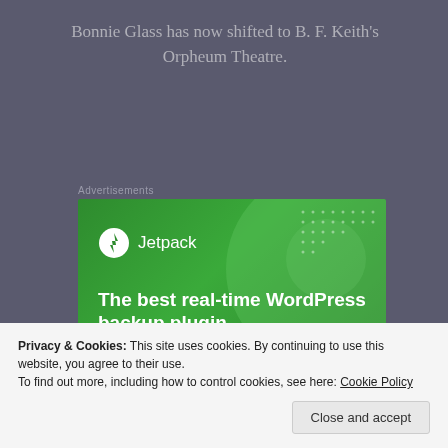Bonnie Glass has now shifted to B. F. Keith's Orpheum Theatre.
Advertisements
[Figure (screenshot): Jetpack WordPress plugin advertisement banner. Green background with large circle graphic, Jetpack logo (lightning bolt icon) and name, headline 'The best real-time WordPress backup plugin', and a white 'Back up your site' button.]
Privacy & Cookies: This site uses cookies. By continuing to use this website, you agree to their use.
To find out more, including how to control cookies, see here: Cookie Policy
Close and accept